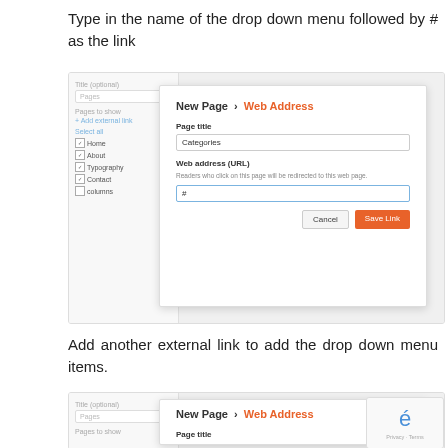Type in the name of the drop down menu followed by # as the link
[Figure (screenshot): Screenshot showing WordPress navigation menu editor with 'New Page > Web Address' dialog open. Page title field contains 'Categories', URL field contains '#'. Cancel and Save Link buttons visible.]
Add another external link to add the drop down menu items.
[Figure (screenshot): Partial screenshot showing bottom of page with WordPress navigation menu editor and 'New Page > Web Address' dialog beginning, with Page title field visible. A reCAPTCHA badge is overlaid in the bottom-right corner.]